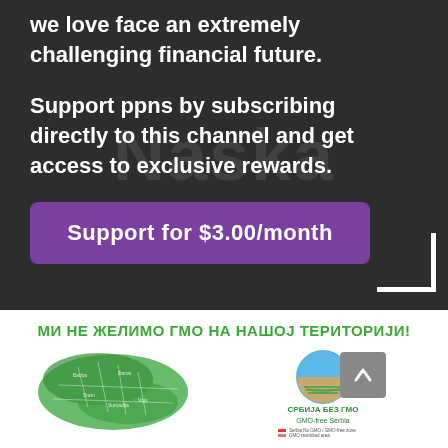[Figure (screenshot): Dark background panel with watermark text 'Naska' and white bold text about financial future, subscribing, and a purple support button]
we love face an extremely challenging financial future.
Support ppns by subscribing directly to this channel and get access to exclusive rewards.
Support for $3.00/month
МИ НЕ ЖЕЛИМО ГМО НА НАШОЈ ТЕРИТОРИЈИ!
[Figure (map): Green map of Serbia with regional divisions]
[Figure (logo): СРБИЈА БЕЗ ГМО / GMO-free Serbia logo with circular design]